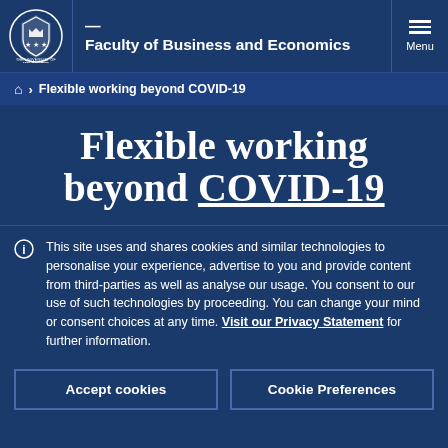Faculty of Business and Economics
🏠 > Flexible working beyond COVID-19
Flexible working beyond COVID-19
This site uses and shares cookies and similar technologies to personalise your experience, advertise to you and provide content from third-parties as well as analyse our usage. You consent to our use of such technologies by proceeding. You can change your mind or consent choices at any time. Visit our Privacy Statement for further information.
Accept cookies
Cookie Preferences